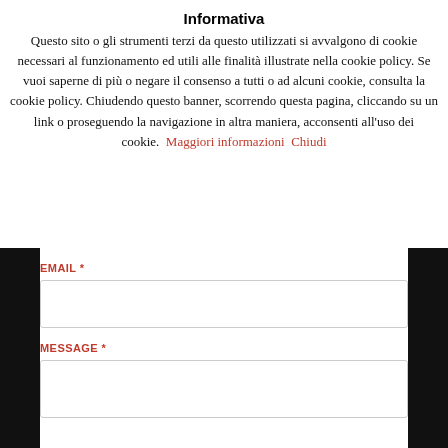Informativa
Questo sito o gli strumenti terzi da questo utilizzati si avvalgono di cookie necessari al funzionamento ed utili alle finalità illustrate nella cookie policy. Se vuoi saperne di più o negare il consenso a tutti o ad alcuni cookie, consulta la cookie policy. Chiudendo questo banner, scorrendo questa pagina, cliccando su un link o proseguendo la navigazione in altra maniera, acconsenti all'uso dei cookie.  Maggiori informazioni  Chiudi
EMAIL *
MESSAGE *